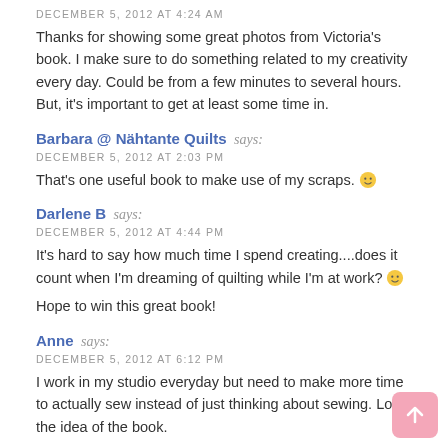DECEMBER 5, 2012 AT 4:24 AM
Thanks for showing some great photos from Victoria's book. I make sure to do something related to my creativity every day. Could be from a few minutes to several hours. But, it's important to get at least some time in.
Barbara @ Nähtante Quilts says:
DECEMBER 5, 2012 AT 2:03 PM
That's one useful book to make use of my scraps. 🙂
Darlene B says:
DECEMBER 5, 2012 AT 4:44 PM
It's hard to say how much time I spend creating....does it count when I'm dreaming of quilting while I'm at work? 🙂
Hope to win this great book!
Anne says:
DECEMBER 5, 2012 AT 6:12 PM
I work in my studio everyday but need to make more time to actually sew instead of just thinking about sewing. Love the idea of the book.